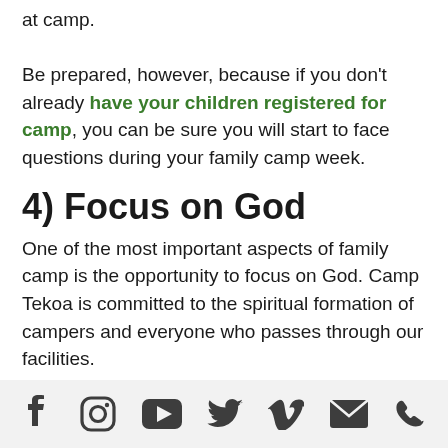at camp.

Be prepared, however, because if you don't already have your children registered for camp, you can be sure you will start to face questions during your family camp week.
4) Focus on God
One of the most important aspects of family camp is the opportunity to focus on God. Camp Tekoa is committed to the spiritual formation of campers and everyone who passes through our facilities.
As your family bonds together during meal times and by experiencing activities. The week is planned
[social icons: Facebook, Instagram, YouTube, Twitter, Vimeo, Email, Phone]